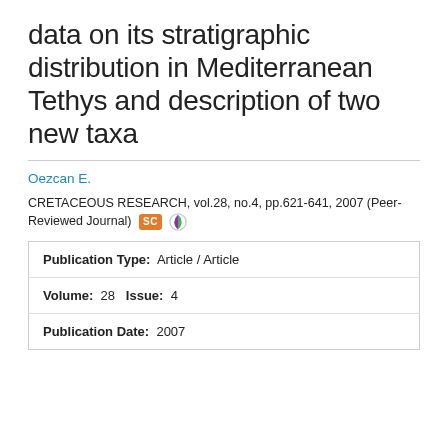data on its stratigraphic distribution in Mediterranean Tethys and description of two new taxa
Oezcan E.
CRETACEOUS RESEARCH, vol.28, no.4, pp.621-641, 2007 (Peer-Reviewed Journal)
| Publication Type: | Article / Article |
| Volume: 28   Issue: 4 |  |
| Publication Date: | 2007 |